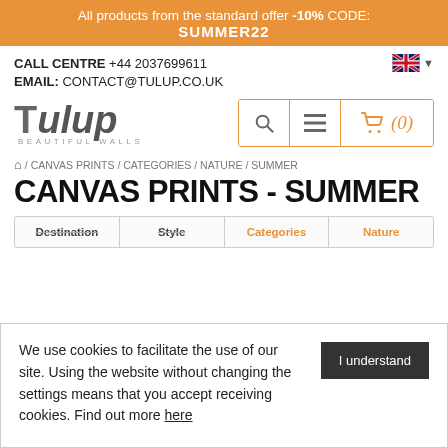All products from the standard offer -10% CODE: SUMMER22
CALL CENTRE +44 2037699611
EMAIL: CONTACT@TULUP.CO.UK
[Figure (logo): Tulup Beautiful Walls logo with search, menu, and cart icons showing (0) items]
/ CANVAS PRINTS / CATEGORIES / NATURE / SUMMER
CANVAS PRINTS - SUMMER
| Destination | Style | Categories | Nature |
| --- | --- | --- | --- |
We use cookies to facilitate the use of our site. Using the website without changing the settings means that you accept receiving cookies. Find out more here